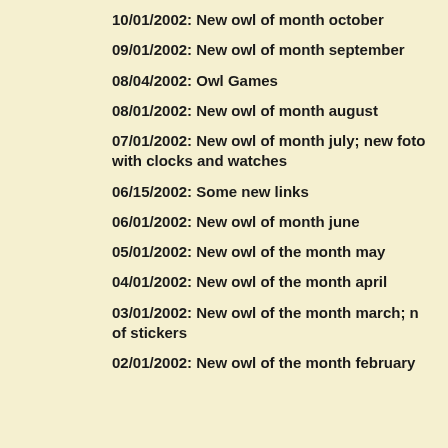10/01/2002: New owl of month october
09/01/2002: New owl of month september
08/04/2002: Owl Games
08/01/2002: New owl of month august
07/01/2002: New owl of month july; new foto with clocks and watches
06/15/2002: Some new links
06/01/2002: New owl of month june
05/01/2002: New owl of the month may
04/01/2002: New owl of the month april
03/01/2002: New owl of the month march; n of stickers
02/01/2002: New owl of the month february